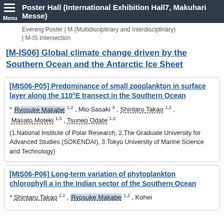Poster Hall (International Exhibition Hall7, Makuhari Messe)
Evening Poster | M (Multidisciplinary and Interdisciplinary) | M-IS Intersection
[M-IS06] Global climate change driven by the Southern Ocean and the Antarctic Ice Sheet
[MIS06-P05] Predominance of small zooplankton in surface layer along the 110°E transect in the Southern Ocean
* Ryosuke Makabe 1,2, Mio Sasaki 3, Shintaro Takao 1,2, Masato Moteki 1,3, Tsuneo Odate 1,2
(1.National Institute of Polar Research, 2.The Graduate University for Advanced Studies (SOKENDAI), 3.Tokyo University of Marine Science and Technology)
[MIS06-P06] Long-term variation of phytoplankton chlorophyll a in the Indian sector of the Southern Ocean
* Shintaro Takao 1,2, Ryosuke Makabe 1,2, Kohei